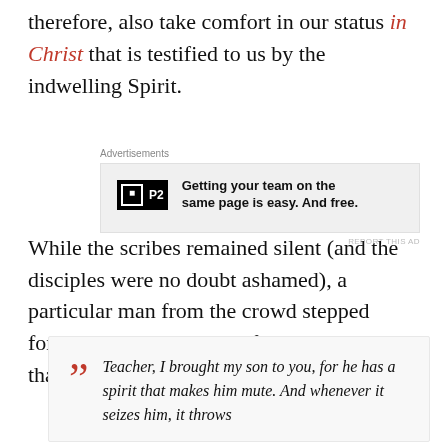therefore, also take comfort in our status in Christ that is testified to us by the indwelling Spirit.
[Figure (other): Advertisement box with P2 logo and text: Getting your team on the same page is easy. And free.]
While the scribes remained silent (and the disciples were no doubt ashamed), a particular man from the crowd stepped forward to answer Jesus, for it was his need that began the whole affair:
Teacher, I brought my son to you, for he has a spirit that makes him mute. And whenever it seizes him, it throws